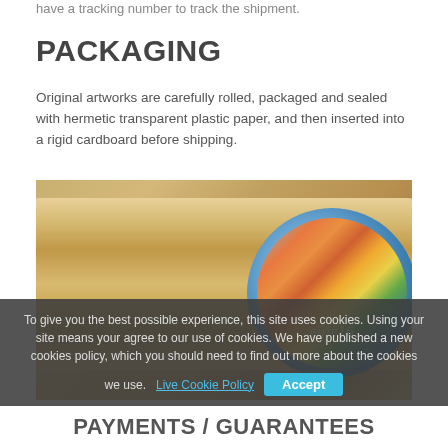have a tracking number to track the shipment.
PACKAGING
Original artworks are carefully rolled, packaged and sealed with hermetic transparent plastic paper, and then inserted into a rigid cardboard before shipping.
[Figure (photo): Photo of a cardboard tube with a rolled artwork (colorful cityscape painting) partially inserted, showing the circular opening of the tube with the artwork visible inside.]
To give you the best possible experience, this site uses cookies. Using your site means your agree to our use of cookies. We have published a new cookies policy, which you should need to find out more about the cookies we use. Live Cookie Policy
PAYMENTS / GUARANTEES